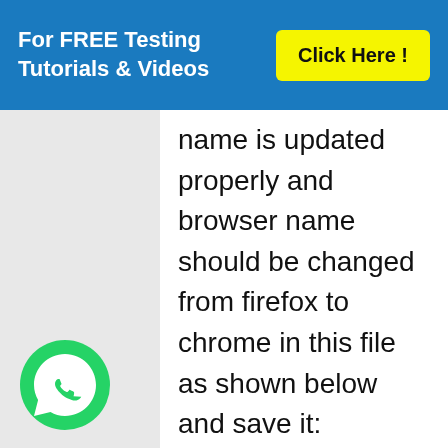For FREE Testing Tutorials & Videos   Click Here !
name is updated properly and browser name should be changed from firefox to chrome in this file as shown below and save it:
[Figure (logo): WhatsApp green circle button icon]